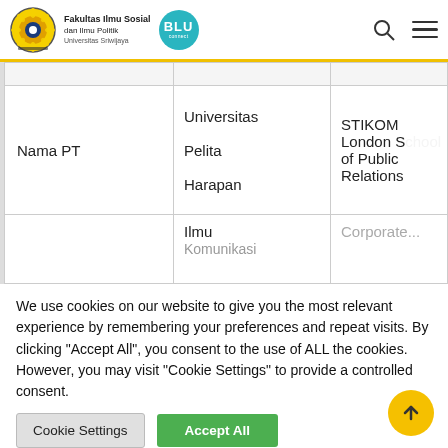Fakultas Ilmu Sosial dan Ilmu Politik Universitas Sriwijaya | BLU
|  | Universitas Pelita Harapan | STIKOM London School of Public Relations |
| --- | --- | --- |
| Nama PT | Universitas Pelita Harapan | STIKOM London School of Public Relations |
|  | Ilmu Komunikasi | Corporate... |
We use cookies on our website to give you the most relevant experience by remembering your preferences and repeat visits. By clicking "Accept All", you consent to the use of ALL the cookies. However, you may visit "Cookie Settings" to provide a controlled consent.